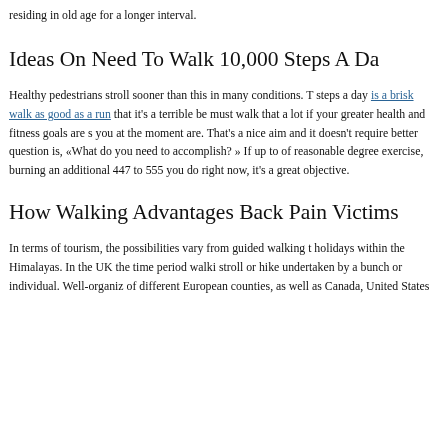residing in old age for a longer interval.
Ideas On Need To Walk 10,000 Steps A Da
Healthy pedestrians stroll sooner than this in many conditions. T steps a day is a brisk walk as good as a run that it's a terrible be must walk that a lot if your greater health and fitness goals are s you at the moment are. That's a nice aim and it doesn't require better question is, «What do you need to accomplish? » If up to of reasonable degree exercise, burning an additional 447 to 555 you do right now, it's a great objective.
How Walking Advantages Back Pain Victims
In terms of tourism, the possibilities vary from guided walking t holidays within the Himalayas. In the UK the time period walki stroll or hike undertaken by a bunch or individual. Well-organiz of different European counties, as well as Canada, United States